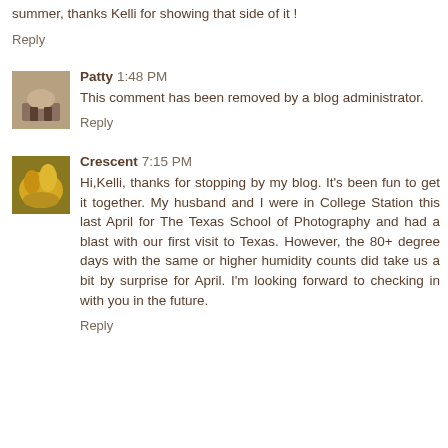summer, thanks Kelli for showing that side of it !
Reply
Patty 1:48 PM
This comment has been removed by a blog administrator.
Reply
Crescent 7:15 PM
Hi,Kelli, thanks for stopping by my blog. It's been fun to get it together. My husband and I were in College Station this last April for The Texas School of Photography and had a blast with our first visit to Texas. However, the 80+ degree days with the same or higher humidity counts did take us a bit by surprise for April. I'm looking forward to checking in with you in the future.
Reply